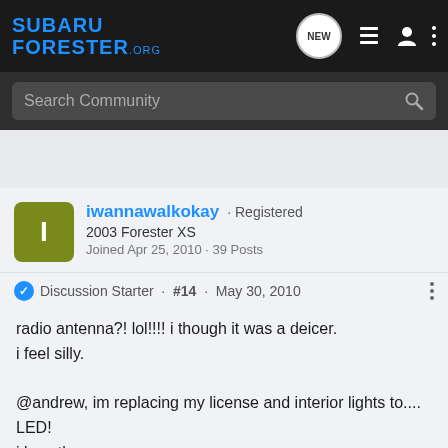SUBARU FORESTER.ORG
Search Community
iwannawalkokay · Registered
2003 Forester XS
Joined Apr 25, 2010 · 39 Posts
Discussion Starter · #14 · May 30, 2010
radio antenna?! lol!!!! i though it was a deicer.
i feel silly.

@andrew, im replacing my license and interior lights to.... LED!
i love th...d nice. i
guess th...
[Figure (screenshot): Overland Expo East 2022 advertisement banner: October 7-9, Arrington, VA. Plan Your Adventure.]